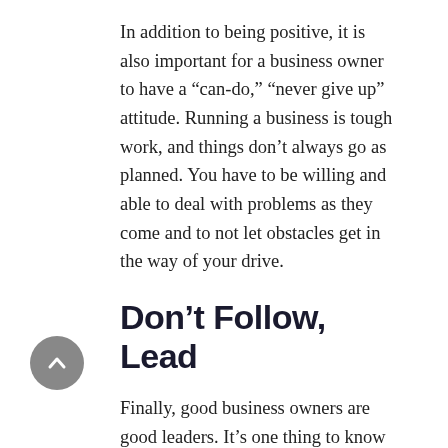In addition to being positive, it is also important for a business owner to have a “can-do,” “never give up” attitude. Running a business is tough work, and things don’t always go as planned. You have to be willing and able to deal with problems as they come and to not let obstacles get in the way of your drive.
Don’t Follow, Lead
Finally, good business owners are good leaders. It’s one thing to know what you want to happen for your business; it’s another thing entirely to know how to lead and encourage a team so that its goals are the same as yours. Good leaders are, first and foremost, good communicators; they know how to clearly tell others what they want and need in order to success to happen. Good leaders are